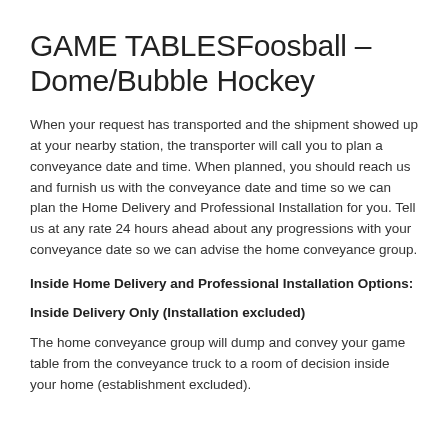GAME TABLESFoosball – Dome/Bubble Hockey
When your request has transported and the shipment showed up at your nearby station, the transporter will call you to plan a conveyance date and time. When planned, you should reach us and furnish us with the conveyance date and time so we can plan the Home Delivery and Professional Installation for you. Tell us at any rate 24 hours ahead about any progressions with your conveyance date so we can advise the home conveyance group.
Inside Home Delivery and Professional Installation Options:
Inside Delivery Only (Installation excluded)
The home conveyance group will dump and convey your game table from the conveyance truck to a room of decision inside your home (establishment excluded).